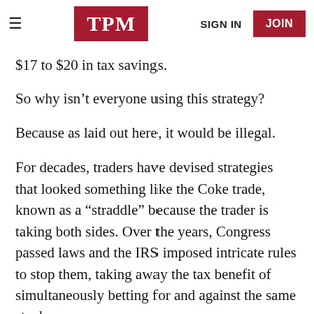TPM | SIGN IN | JOIN
$17 to $20 in tax savings.
So why isn’t everyone using this strategy?
Because as laid out here, it would be illegal.
For decades, traders have devised strategies that looked something like the Coke trade, known as a “straddle” because the trader is taking both sides. Over the years, Congress passed laws and the IRS imposed intricate rules to stop them, taking away the tax benefit of simultaneously betting for and against the same stock.
And yet, Yass and his partners built a machine that